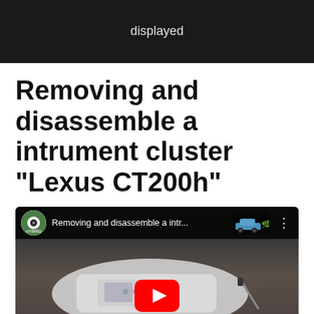[Figure (screenshot): Top portion of a dark video frame showing text 'displayed' in light color on dark background]
Removing and disassemble a intrument cluster “Lexus CT200h”
[Figure (screenshot): YouTube video thumbnail showing disassembled Lexus CT200h instrument cluster on a workbench, with YouTube play button overlay and channel icon]